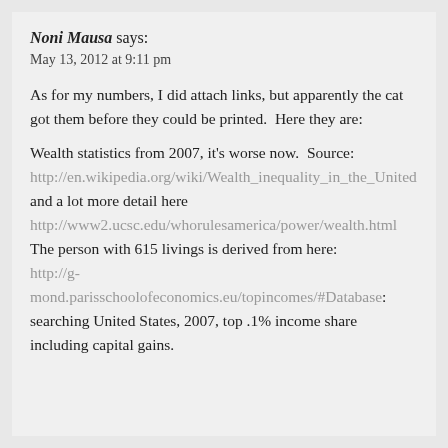Noni Mausa says:
May 13, 2012 at 9:11 pm
As for my numbers, I did attach links, but apparently the cat got them before they could be printed.  Here they are:
Wealth statistics from 2007, it's worse now.  Source: http://en.wikipedia.org/wiki/Wealth_inequality_in_the_United and a lot more detail here http://www2.ucsc.edu/whorulesamerica/power/wealth.html The person with 615 livings is derived from here: http://g-mond.parisschoolofeconomics.eu/topincomes/#Database: searching United States, 2007, top .1% income share including capital gains.